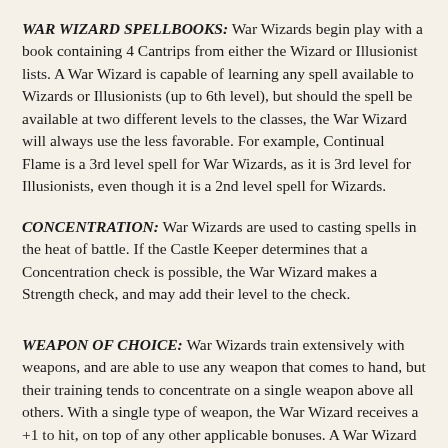WAR WIZARD SPELLBOOKS: War Wizards begin play with a book containing 4 Cantrips from either the Wizard or Illusionist lists. A War Wizard is capable of learning any spell available to Wizards or Illusionists (up to 6th level), but should the spell be available at two different levels to the classes, the War Wizard will always use the less favorable. For example, Continual Flame is a 3rd level spell for War Wizards, as it is 3rd level for Illusionists, even though it is a 2nd level spell for Wizards.
CONCENTRATION: War Wizards are used to casting spells in the heat of battle. If the Castle Keeper determines that a Concentration check is possible, the War Wizard makes a Strength check, and may add their level to the check.
WEAPON OF CHOICE: War Wizards train extensively with weapons, and are able to use any weapon that comes to hand, but their training tends to concentrate on a single weapon above all others. With a single type of weapon, the War Wizard receives a +1 to hit, on top of any other applicable bonuses. A War Wizard may change what sort of weapon this bonus applies to at levels 6, 10...